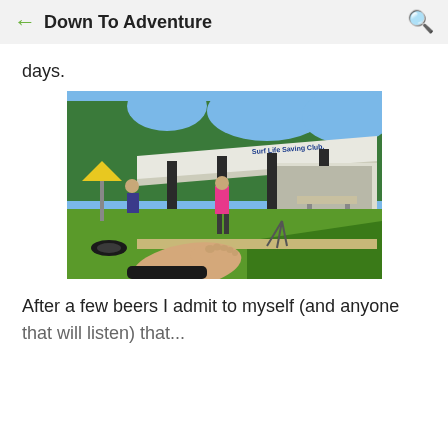Down To Adventure
days.
[Figure (photo): Outdoor photo showing a Surf Life Saving Club building with a large flat roof canopy supported by dark pillars. Green lawn in foreground with a person's bare foot visible at bottom. People visible in background near a yellow umbrella. Palm trees and blue sky behind the building.]
After a few beers I admit to myself (and anyone that will listen) that...